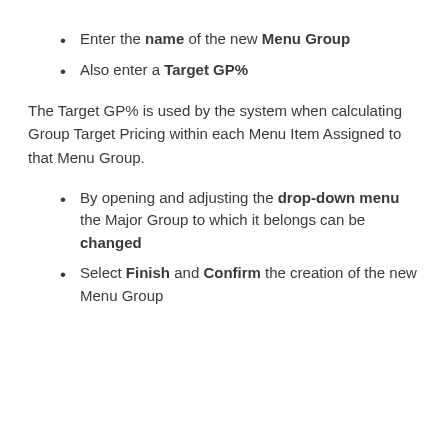Enter the name of the new Menu Group
Also enter a Target GP%
The Target GP% is used by the system when calculating Group Target Pricing within each Menu Item Assigned to that Menu Group.
By opening and adjusting the drop-down menu the Major Group to which it belongs can be changed
Select Finish and Confirm the creation of the new Menu Group